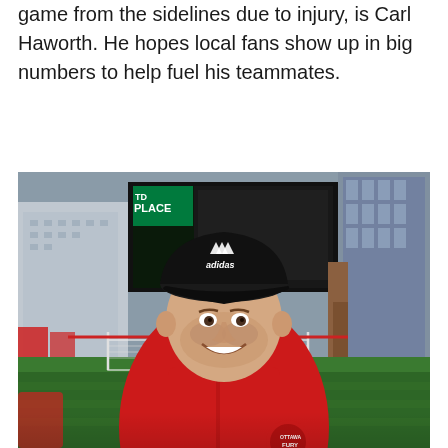game from the sidelines due to injury, is Carl Haworth. He hopes local fans show up in big numbers to help fuel his teammates.
[Figure (photo): Carl Haworth smiling at the camera, wearing a black Adidas cap and a red Ottawa Fury FC jacket, standing on a soccer field with TD Place stadium visible in the background.]